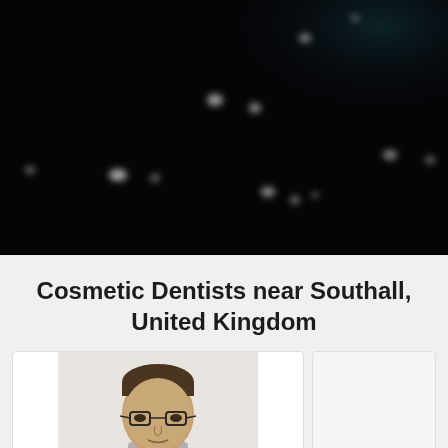[Figure (photo): Dark black background image with scattered faint glowing white dots or light points arranged in a loose constellation-like pattern against a very dark background with subtle dark teal hints in corners.]
Cosmetic Dentists near Southall, United Kingdom
[Figure (photo): Partial photo of a man with glasses and short hair on a light grey/white background, cropped at the bottom.]